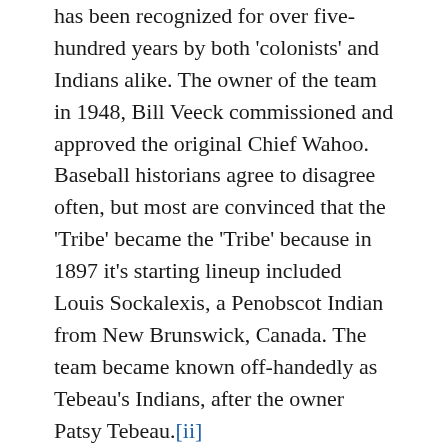has been recognized for over five-hundred years by both 'colonists' and Indians alike. The owner of the team in 1948, Bill Veeck commissioned and approved the original Chief Wahoo. Baseball historians agree to disagree often, but most are convinced that the 'Tribe' became the 'Tribe' because in 1897 it's starting lineup included Louis Sockalexis, a Penobscot Indian from New Brunswick, Canada. The team became known off-handedly as Tebeau's Indians, after the owner Patsy Tebeau.[ii]
Because of pressure, the team has already removed Chief Wahoo because it was considered disparaging. I believe the Indian whose features are modeled after, would object